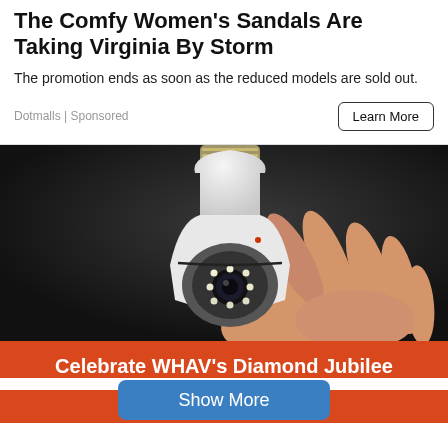The Comfy Women's Sandals Are Taking Virginia By Storm
The promotion ends as soon as the reduced models are sold out.
Dotmalls | Sponsored
[Figure (photo): A hand holding a white bulb-shaped security camera device with LED lights around the lens, against a dark background]
Celebrate WHAV's Diamond Jubilee
Show More